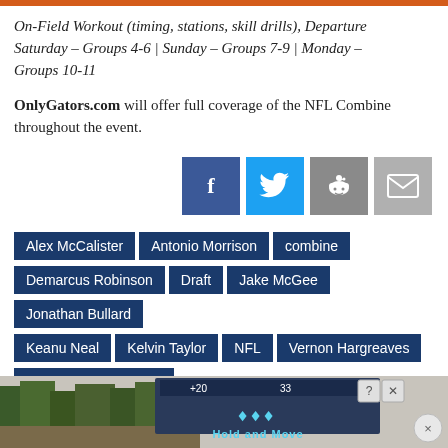On-Field Workout (timing, stations, skill drills), Departure Saturday – Groups 4-6 | Sunday – Groups 7-9 | Monday – Groups 10-11
OnlyGators.com will offer full coverage of the NFL Combine throughout the event.
[Figure (other): Social share icons: Facebook, Twitter, Reddit, Email]
Alex McCalister
Antonio Morrison
combine
Demarcus Robinson
Draft
Jake McGee
Jonathan Bullard
Keanu Neal
Kelvin Taylor
NFL
Vernon Hargreaves
Vernon Hargreaves III
[Figure (screenshot): Advertisement banner at bottom showing Hold and Move app/game with trees background]